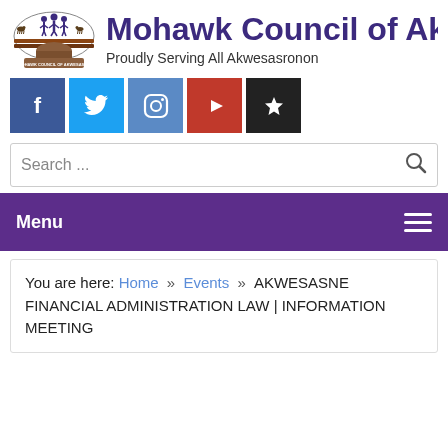[Figure (logo): Mohawk Council of Akwesasne official seal/logo showing figures and animals in a semicircle above a longhouse, with text 'MOHAWK COUNCIL OF AKWESASNE']
Mohawk Council of Akwesasne
Proudly Serving All Akwesasronon
[Figure (infographic): Social media buttons: Facebook (blue), Twitter (light blue), Instagram (steel blue), YouTube (red), Favorites/star (black)]
Search ...
Menu
You are here: Home » Events » AKWESASNE FINANCIAL ADMINISTRATION LAW | INFORMATION MEETING